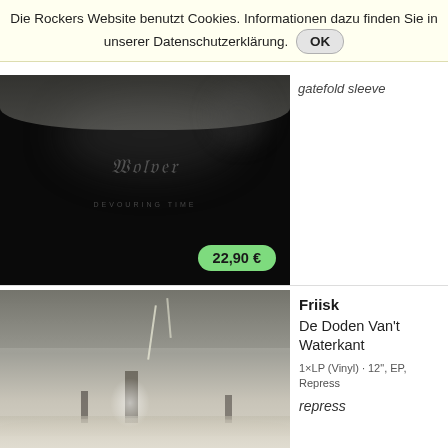Die Rockers Website benutzt Cookies. Informationen dazu finden Sie in unserer Datenschutzerklärung. OK
[Figure (photo): Dark album cover with gothic band logo text, black background with subtle smoke effects]
gatefold sleeve
22,90 €
[Figure (illustration): Black and white sketch illustration of a lighthouse in a storm with lightning, waves, and trees]
Friisk
De Doden Van't Waterkant
1×LP (Vinyl) · 12", EP, Repress
repress